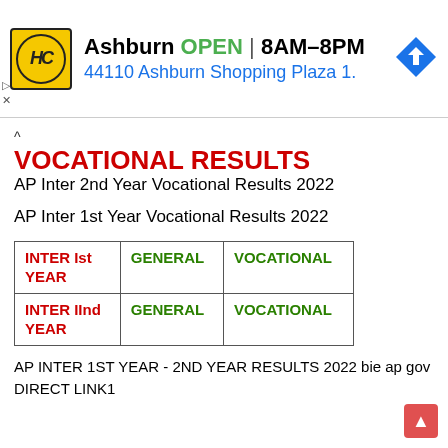[Figure (infographic): Advertisement banner: HC logo (yellow circle), Ashburn OPEN 8AM-8PM, 44110 Ashburn Shopping Plaza 1., blue navigation diamond icon]
VOCATIONAL RESULTS
AP Inter 2nd Year Vocational Results 2022
AP Inter 1st Year Vocational Results 2022
| INTER Ist YEAR | GENERAL | VOCATIONAL |
| --- | --- | --- |
| INTER IInd YEAR | GENERAL | VOCATIONAL |
AP INTER 1ST YEAR - 2ND YEAR RESULTS 2022 bie ap gov DIRECT LINK1